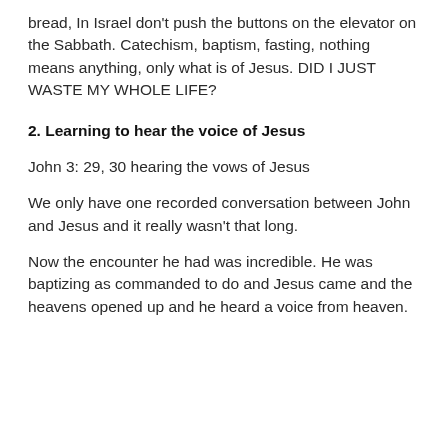bread, In Israel don't push the buttons on the elevator on the Sabbath. Catechism, baptism, fasting, nothing means anything, only what is of Jesus. DID I JUST WASTE MY WHOLE LIFE?
2.  Learning to hear the voice of Jesus
John 3: 29, 30  hearing the vows of Jesus
We only have one recorded conversation between John and Jesus and it really wasn't that long.
Now the encounter he had was incredible. He was baptizing as commanded to do and Jesus came and the heavens opened up and he heard a voice from heaven.